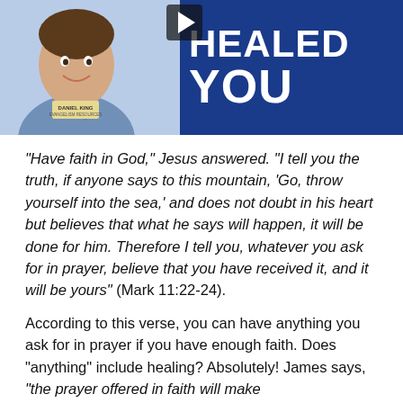[Figure (photo): Book cover or promotional image showing a smiling man (Daniel King) with text 'HEALED YOU' on a blue background]
“Have faith in God,” Jesus answered. “I tell you the truth, if anyone says to this mountain, ‘Go, throw yourself into the sea,’ and does not doubt in his heart but believes that what he says will happen, it will be done for him. Therefore I tell you, whatever you ask for in prayer, believe that you have received it, and it will be yours” (Mark 11:22-24).
According to this verse, you can have anything you ask for in prayer if you have enough faith. Does “anything” include healing? Absolutely! James says, “the prayer offered in faith will make